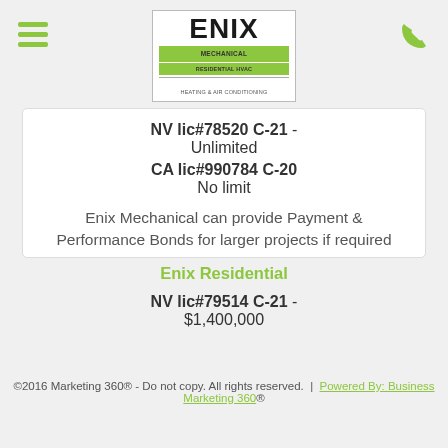[Figure (logo): ENIX Mechanical Residential HVAC Heating & Air Conditioning logo with green bar]
NV lic#78520 C-21 - Unlimited
CA lic#990784 C-20
No limit
Enix Mechanical can provide Payment & Performance Bonds for larger projects if required
Enix Residential
NV lic#79514 C-21 - $1,400,000
©2016 Marketing 360® - Do not copy. All rights reserved. | Powered By: Business Marketing 360®